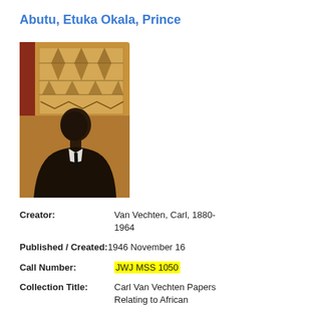Abutu, Etuka Okala, Prince
[Figure (photo): Black and white / sepia-toned photograph of a man in a dark suit and tie, shown in profile/three-quarter view, with a patterned textile hanging on the wall behind him.]
Creator: Van Vechten, Carl, 1880-1964
Published / Created: 1946 November 16
Call Number: JWJ MSS 1050
Collection Title: Carl Van Vechten Papers Relating to African